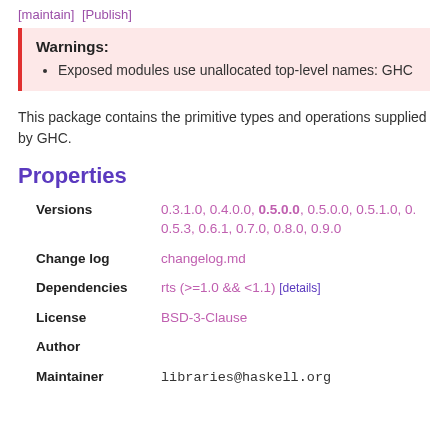[maintain] [Publish]
Warnings:
• Exposed modules use unallocated top-level names: GHC
This package contains the primitive types and operations supplied by GHC.
Properties
| Property | Value |
| --- | --- |
| Versions | 0.3.1.0, 0.4.0.0, 0.5.0.0, 0.5.0.0, 0.5.1.0, 0. 0.5.3, 0.6.1, 0.7.0, 0.8.0, 0.9.0 |
| Change log | changelog.md |
| Dependencies | rts (>=1.0 && <1.1) [details] |
| License | BSD-3-Clause |
| Author |  |
| Maintainer | libraries@haskell.org |